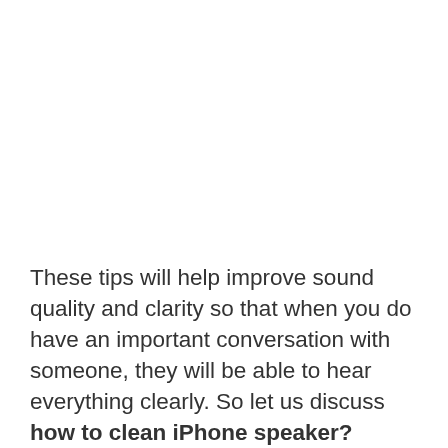These tips will help improve sound quality and clarity so that when you do have an important conversation with someone, they will be able to hear everything clearly. So let us discuss how to clean iPhone speaker?